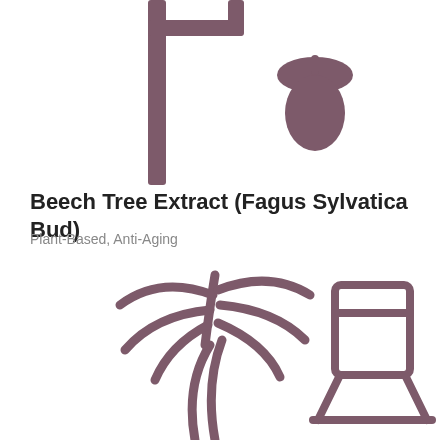[Figure (illustration): Partial beech tree silhouette (trunk and branch, dark mauve/purple) with an acorn icon (filled, dark mauve) to the right, cropped at top of page]
Beech Tree Extract (Fagus Sylvatica Bud)
Plant-Based, Anti-Aging
[Figure (illustration): Two icons: a palm tree outline (dark mauve, stroked) on the left, and a laboratory flask/stand icon (dark mauve, stroked) on the right]